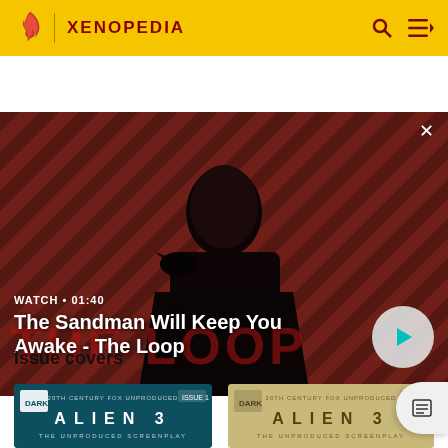XENOPEDIA
[Figure (screenshot): Hero banner showing a dark-haired man in black coat with a crow on his shoulder against a diagonal red and dark striped background. Text overlay: WATCH • 01:40, The Sandman Will Keep You Awake - The Loop]
Issue covers
[Figure (illustration): ALIEN 3 THE UNPRODUCED SCREENPLAY comic issue cover on dark teal background]
[Figure (illustration): ALIEN 3 THE UNPRODUCED SCREENPLAY comic issue cover on tan/beige background]